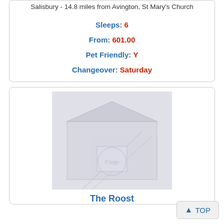Salisbury - 14.8 miles from Avington, St Mary's Church
Sleeps: 6
From: 601.00
Pet Friendly: Y
Changeover: Saturday
[Figure (photo): Faded exterior photo of a property listing]
The Roost